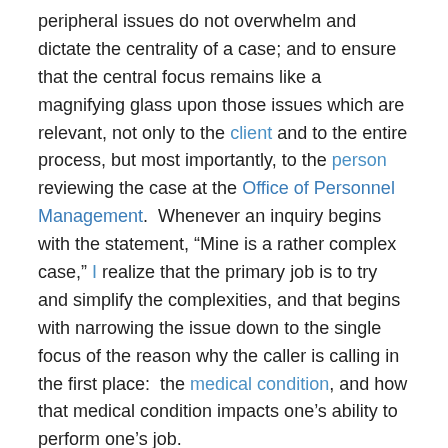peripheral issues do not overwhelm and dictate the centrality of a case; and to ensure that the central focus remains like a magnifying glass upon those issues which are relevant, not only to the client and to the entire process, but most importantly, to the person reviewing the case at the Office of Personnel Management. Whenever an inquiry begins with the statement, “Mine is a rather complex case,” I realize that the primary job is to try and simplify the complexities, and that begins with narrowing the issue down to the single focus of the reason why the caller is calling in the first place: the medical condition, and how that medical condition impacts one’s ability to perform one’s job.
Sincerely,
Robert R. McGill, Esquire